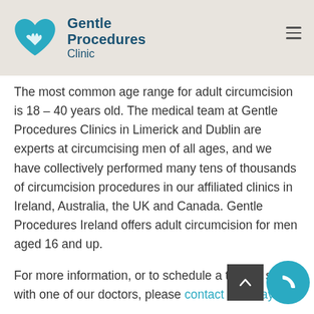Gentle Procedures Clinic
The most common age range for adult circumcision is 18 – 40 years old. The medical team at Gentle Procedures Clinics in Limerick and Dublin are experts at circumcising men of all ages, and we have collectively performed many tens of thousands of circumcision procedures in our affiliated clinics in Ireland, Australia, the UK and Canada. Gentle Procedures Ireland offers adult circumcision for men aged 16 and up.
For more information, or to schedule a time to speak with one of our doctors, please contact us today.
You can also use the cost confirmation form to request more information.
Appointments are generally available within a short time